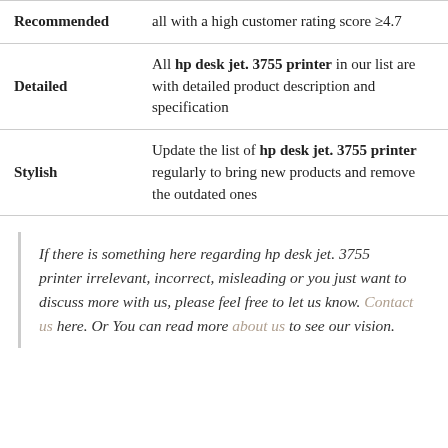| Label | Description |
| --- | --- |
| Recommended | all with a high customer rating score ≥4.7 |
| Detailed | All hp desk jet. 3755 printer in our list are with detailed product description and specification |
| Stylish | Update the list of hp desk jet. 3755 printer regularly to bring new products and remove the outdated ones |
If there is something here regarding hp desk jet. 3755 printer irrelevant, incorrect, misleading or you just want to discuss more with us, please feel free to let us know. Contact us here. Or You can read more about us to see our vision.